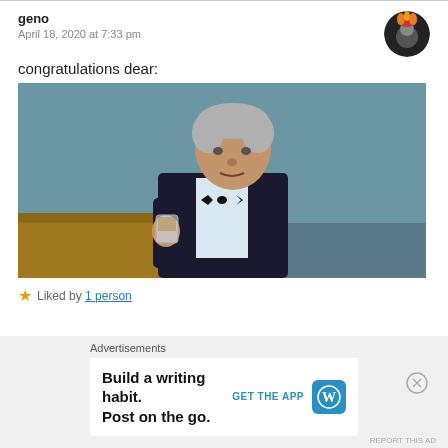geno
April 18, 2020 at 7:33 pm
[Figure (photo): Small circular avatar photo of a person wearing a hat with orange hair/flames, appears to be a stylized/illustrated profile picture]
congratulations dear:
[Figure (photo): An elderly man in a tuxedo with a bow tie, holding up a glass of whiskey/drink, with gray hair, set against a blue-gray background]
★ Liked by 1 person
Advertisements
Build a writing habit.
Post on the go.
GET THE APP